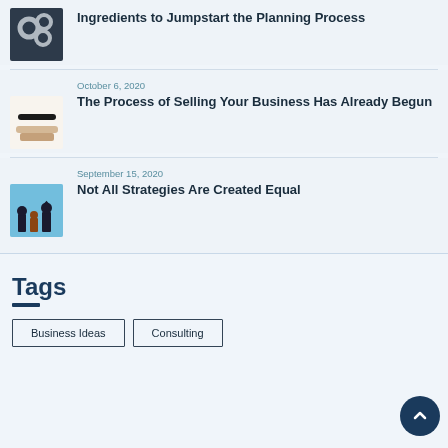[Figure (photo): Gear cogs on dark background thumbnail]
Ingredients to Jumpstart the Planning Process
October 6, 2020
[Figure (photo): Hand gesture business thumbnail]
The Process of Selling Your Business Has Already Begun
September 15, 2020
[Figure (photo): Chess pieces strategy thumbnail]
Not All Strategies Are Created Equal
Tags
Business Ideas
Consulting